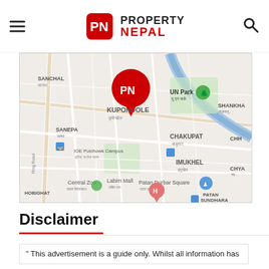Property Nepal
[Figure (map): Google Maps view showing Kupondole area in Patan, Nepal. Visible landmarks include UN Park, IOE Pulchowk Campus, Labim Mall, Central Zoo, Patan Durbar Square, Chakupat, Imukhel, Sanepa, Sanchal, Chya, Patan Sundhara areas. A Property Nepal branded pin marker is shown at the center of the map.]
Disclaimer
" This advertisement is a guide only. Whilst all information has